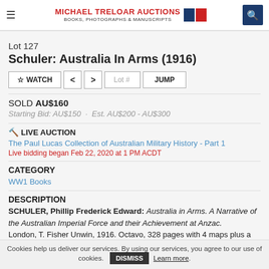MICHAEL TRELOAR AUCTIONS BOOKS, PHOTOGRAPHS & MANUSCRIPTS
Lot 127
Schuler: Australia In Arms (1916)
SOLD AU$160
Starting Bid: AU$150 · Est. AU$200 - AU$300
LIVE AUCTION
The Paul Lucas Collection of Australian Military History - Part 1
Live bidding began Feb 22, 2020 at 1 PM ACDT
CATEGORY
WW1 Books
DESCRIPTION
SCHULER, Phillip Frederick Edward: Australia in Arms. A Narrative of the Australian Imperial Force and their Achievement at Anzac. London, T. Fisher Unwin, 1916. Octavo, 328 pages with 4 maps plus a
Cookies help us deliver our services. By using our services, you agree to our use of cookies. DISMISS Learn more.